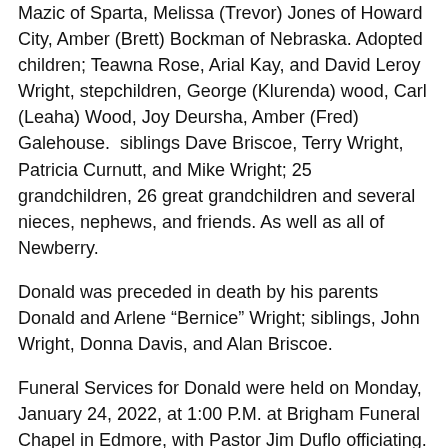Mazic of Sparta, Melissa (Trevor) Jones of Howard City, Amber (Brett) Bockman of Nebraska. Adopted children; Teawna Rose, Arial Kay, and David Leroy Wright, stepchildren, George (Klurenda) wood, Carl (Leaha) Wood, Joy Deursha, Amber (Fred) Galehouse.  siblings Dave Briscoe, Terry Wright, Patricia Curnutt, and Mike Wright; 25 grandchildren, 26 great grandchildren and several nieces, nephews, and friends. As well as all of Newberry.
Donald was preceded in death by his parents Donald and Arlene “Bernice” Wright; siblings, John Wright, Donna Davis, and Alan Briscoe.
Funeral Services for Donald were held on Monday, January 24, 2022, at 1:00 P.M. at Brigham Funeral Chapel in Edmore, with Pastor Jim Duflo officiating. Family accepted friends for visitation on Monday from 11:00 – 1:00 P.M. at the funeral home.